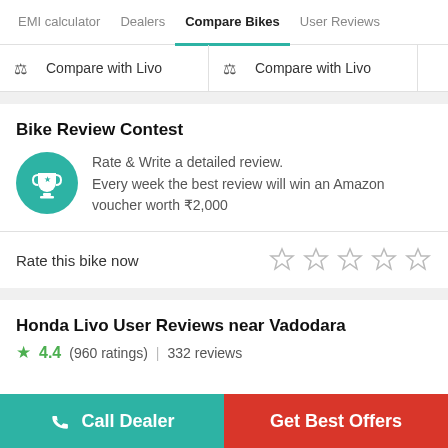EMI calculator | Dealers | Compare Bikes | User Reviews
Compare with Livo | Compare with Livo
Bike Review Contest
Rate & Write a detailed review. Every week the best review will win an Amazon voucher worth ₹2,000
Rate this bike now
Honda Livo User Reviews near Vadodara
★ 4.4 (960 ratings) | 332 reviews
Call Dealer | Get Best Offers